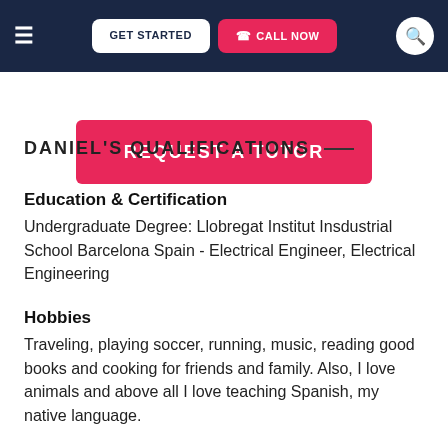≡  GET STARTED  CALL NOW  🔍
REQUEST A TUTOR
DANIEL'S QUALIFICATIONS
Education & Certification
Undergraduate Degree: Llobregat Institut Insdustrial School Barcelona Spain - Electrical Engineer, Electrical Engineering
Hobbies
Traveling, playing soccer, running, music, reading good books and cooking for friends and family. Also, I love animals and above all I love teaching Spanish, my native language.